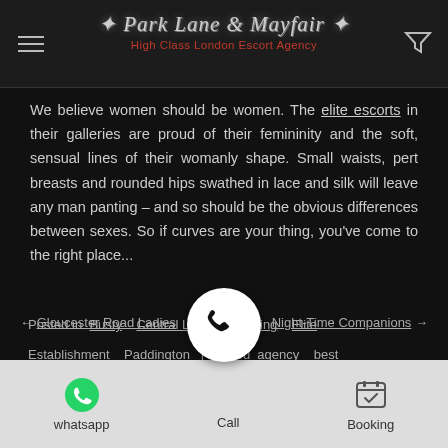Park Lane & Mayfair — High Class London Escort Agency
We believe women should be women. The elite escorts in their galleries are proud of their femininity and the soft, sensual lines of their womanly shape. Small waists, pert breasts and rounded hips swathed in lace and silk will leave any man panting – and so should be the obvious differences between sexes. So if curves are your thing, you've come to the right place...
Posted in Busty   Central London   Dating   Elite   Establishment   Paddington  | Tagged agency   best   ladies   visit
← Gloucester Road Ladies     Night-Time Companions →
whatsapp   Call   Booking